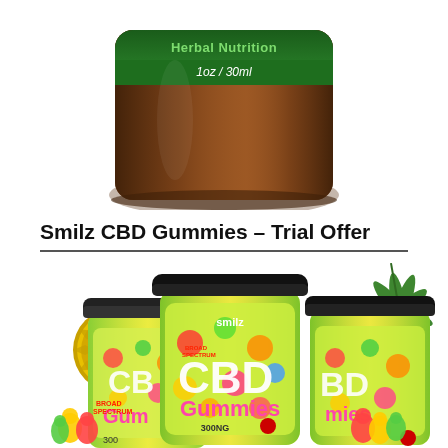[Figure (photo): Top portion of a dark amber glass jar with a green label showing 'Herbal Nutrition' and '1oz / 30ml' on a white background.]
Smilz CBD Gummies – Trial Offer
[Figure (photo): Three jars of Smilz Broad Spectrum CBD Gummies (300mg) with colorful labels showing gummy bears, a gold '100% Pure CBD' seal badge, a cannabis leaf in the background, and gummy bear candies scattered around the base.]